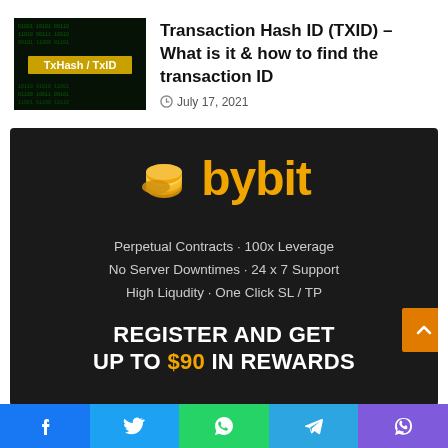[Figure (screenshot): Thumbnail image with dark green matrix background and text 'TxHash / TxID' in white and yellow]
Transaction Hash ID (TXID) – What is it & how to find the transaction ID
July 17, 2021
[Figure (infographic): Bybit advertisement banner with dark background, Bybit logo in gold, taglines about perpetual contracts and rewards, and text: 'REGISTER AND GET UP TO $90 IN REWARDS']
[Figure (infographic): Social share bar at bottom with Facebook, Twitter, WhatsApp, Telegram, Viber buttons]